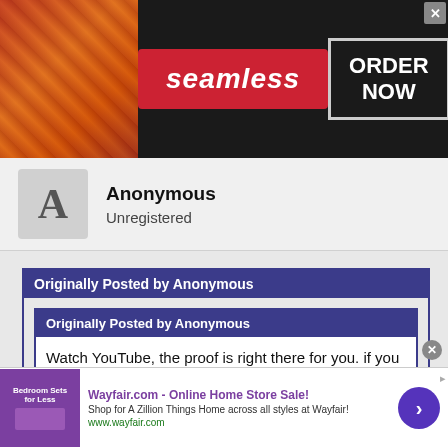[Figure (screenshot): Seamless food delivery advertisement banner with pizza image on left, red Seamless logo in center, and ORDER NOW button in white bordered box on dark background]
Anonymous
Unregistered
Originally Posted by Anonymous
Originally Posted by Anonymous
Watch YouTube, the proof is right there for you. if you think Club Lacrosse is on par with any NCAA D-1 through D-3 you know very little about the sport. The play is slow and unpolished. It looks like a lower-tier HS game.
[Figure (screenshot): Wayfair.com online home store sale advertisement with purple bedroom sets image on left, ad text and URL in center, and blue arrow button on right]